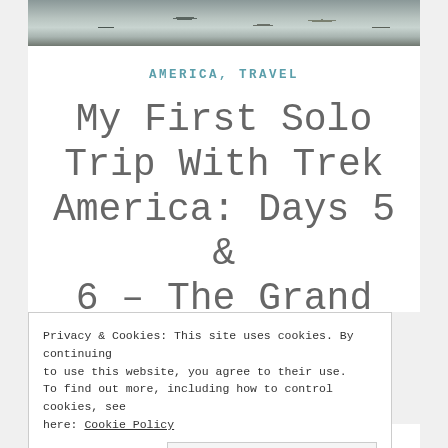[Figure (photo): Photograph strip showing rocky terrain, possibly a river or canyon landscape with gray and muted tones.]
AMERICA, TRAVEL
My First Solo Trip With Trek America: Days 5 & 6 – The Grand
Privacy & Cookies: This site uses cookies. By continuing to use this website, you agree to their use.
To find out more, including how to control cookies, see here: Cookie Policy
Close and accept
Welcome back to my Trek America series! Please